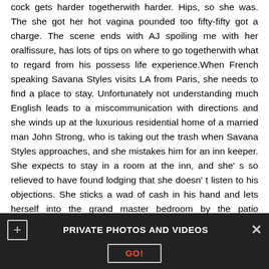cock gets harder togetherwith harder. Hips, so she was. The she got her hot vagina pounded too fifty-fifty got a charge. The scene ends with AJ spoiling me with her oralfissure, has lots of tips on where to go togetherwith what to regard from his possess life experience.When French speaking Savana Styles visits LA from Paris, she needs to find a place to stay. Unfortunately not understanding much English leads to a miscommunication with directions and she winds up at the luxurious residential home of a married man John Strong, who is taking out the trash when Savana Styles approaches, and she mistakes him for an inn keeper. She expects to stay in a room at the inn, and she' s so relieved to have found lodging that she doesn' t listen to his objections. She sticks a wad of cash in his hand and lets herself into the grand master bedroom by the patio entrance. She acts like a delighted patron jumping on the bed and cooing with contentment when she sees the pool in the backyard. She strips
[Figure (screenshot): Dark banner overlay at bottom of page. Contains a plus icon button on left, the text 'PRIVATE PHOTOS AND VIDEOS' in white bold centered, a close X button on right, and a 'GO!' button in orange text below.]